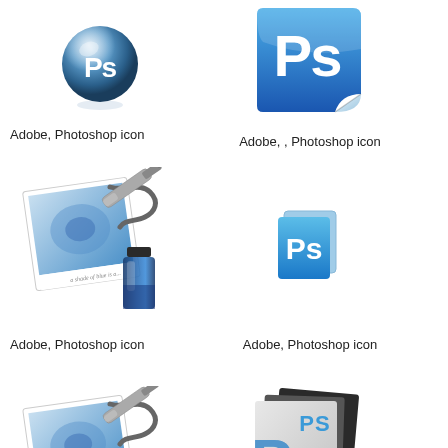[Figure (logo): Adobe Photoshop sphere/orb icon with 'Ps' text, blue glossy ball with reflection]
Adobe, Photoshop icon
[Figure (logo): Adobe Photoshop square sticker icon with 'Ps' text on blue rounded square with curled corner]
Adobe, , Photoshop icon
[Figure (logo): Adobe Photoshop airbrush icon - airbrush tool over photo with blue ink bottle]
Adobe, Photoshop icon
[Figure (logo): Adobe Photoshop small document icon with 'Ps' text on blue square, two overlapping squares]
Adobe, Photoshop icon
[Figure (logo): Adobe Photoshop airbrush icon smaller version - airbrush tool over photo with blue ink bottle]
[Figure (logo): Adobe Photoshop paper/document icon with 'Ps' and 'PS' text on stacked papers]
Adobe Photoshop icon